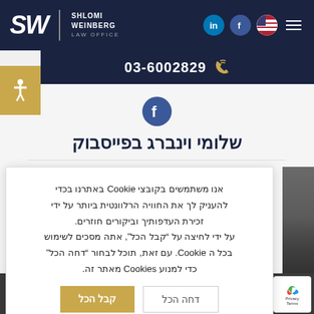SW SHLOMI WEINBERG LAW OFFICE
03-6002829
שלומי וינברג בפייסבוק
אנו משתמשים בקובצי Cookie באתרנו בכדי להעניק לך את החוויה הרלוונטית ביותר על ידי זכירת העדפותיך וביקורים חוזרים. על ידי לחיצה על "קבל הכל", אתה מסכים לשימוש בכל ה Cookie. עם זאת, תוכל לבחור "דחה הכל" כדי למנוע Cookies מאתר זה.